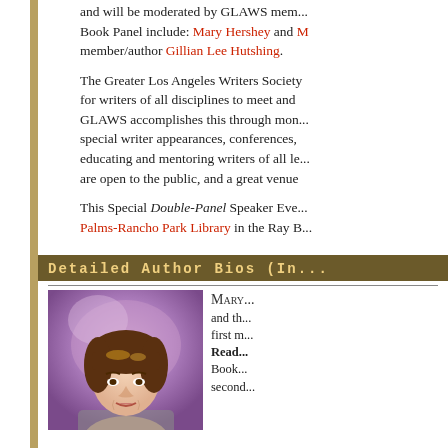and will be moderated by GLAWS mem... Book Panel include: Mary Hershey and member/author Gillian Lee Hutshing.
The Greater Los Angeles Writers Society for writers of all disciplines to meet and GLAWS accomplishes this through mon... special writer appearances, conferences, educating and mentoring writers of all le... are open to the public, and a great venue
This Special Double-Panel Speaker Eve... Palms-Rancho Park Library in the Ray B...
Detailed Author Bios (In...
[Figure (photo): Headshot of Mary Hershey, a woman with brown hair and bangs, against a purple/lavender background.]
MARY... and th... first m... Read... Book... second...